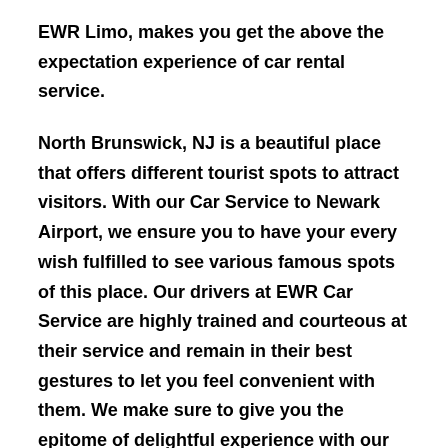EWR Limo, makes you get the above the expectation experience of car rental service.
North Brunswick, NJ is a beautiful place that offers different tourist spots to attract visitors. With our Car Service to Newark Airport, we ensure you to have your every wish fulfilled to see various famous spots of this place. Our drivers at EWR Car Service are highly trained and courteous at their service and remain in their best gestures to let you feel convenient with them. We make sure to give you the epitome of delightful experience with our Car Service Newark Airport.
Whether your arrival to North Brunswick, NJ is due to some function, then please connect for the...